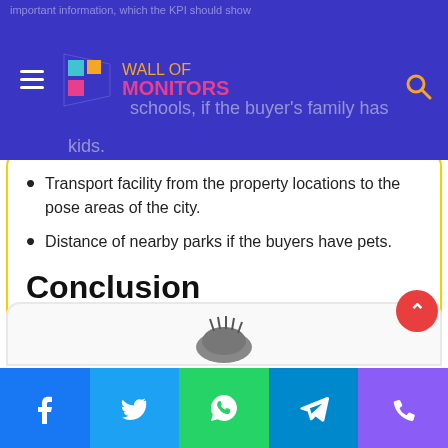Wall of Monitors — website header navigation bar
schools, if the buyer's family has kids.
Transport facility from the property locations to the pose areas of the city.
Distance of nearby parks if the buyers have pets.
Conclusion
All these strategies and processes help to understand the contemporary requirements of buyers and to connect the unique selling points with their purchasing sentiment.